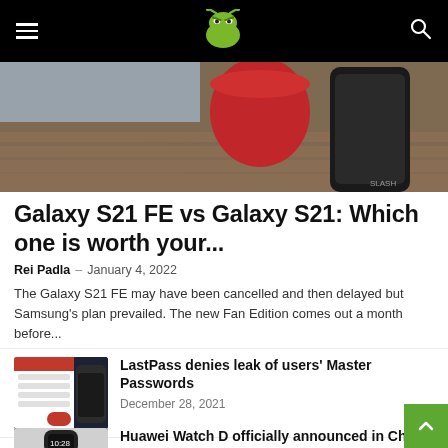AndroidPit navigation bar with hamburger menu, logo, and search icon
[Figure (photo): Hero image showing Samsung Galaxy S21 FE and Galaxy S21 phones on a wooden surface with a red object. Credit: SLASH visible in bottom right.]
Galaxy S21 FE vs Galaxy S21: Which one is worth your...
Rei Padla – January 4, 2022
The Galaxy S21 FE may have been cancelled and then delayed but Samsung's plan prevailed. The new Fan Edition comes out a month before...
[Figure (screenshot): Thumbnail of LastPass app interface showing settings screens.]
LastPass denies leak of users' Master Passwords
December 28, 2021
[Figure (photo): Thumbnail of Huawei Watch D smartwatch.]
Huawei Watch D officially announced in Ch...
December 26, 2021